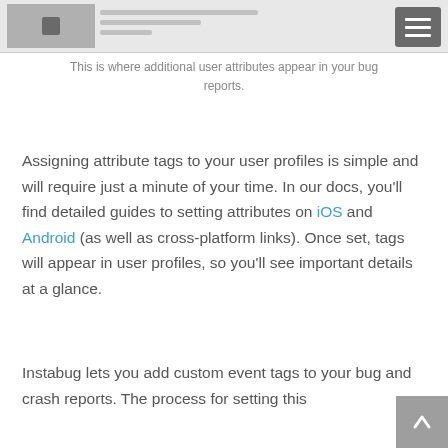[Figure (screenshot): Screenshot of a mobile app UI showing a bug report interface with a menu button in the top right corner]
This is where additional user attributes appear in your bug reports.
Assigning attribute tags to your user profiles is simple and will require just a minute of your time. In our docs, you'll find detailed guides to setting attributes on iOS and Android (as well as cross-platform links). Once set, tags will appear in user profiles, so you'll see important details at a glance.
Instabug lets you add custom event tags to your bug and crash reports. The process for setting this